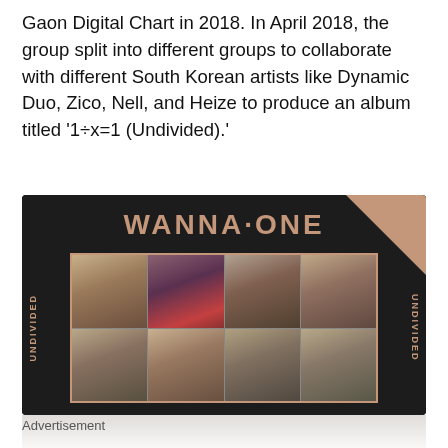Gaon Digital Chart in 2018. In April 2018, the group split into different groups to collaborate with different South Korean artists like Dynamic Duo, Zico, Nell, and Heize to produce an album titled '1÷x=1 (Undivided).'
[Figure (photo): Wanna One album cover for '1÷x=1 (Undivided)' showing group members in a photo grid on a dark background with rose-gold WANNA·ONE text and UNDIVIDED side text]
Advertisement